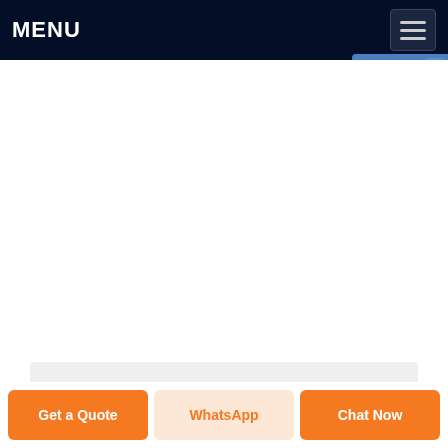MENU
[Figure (screenshot): Mobile website screenshot showing a dark navy navigation bar with MENU text and hamburger icon, a Live Chat widget in the top right, a white content area, a partial product image section with a green item visible, and three bottom action buttons: Get a Quote, WhatsApp, and Chat Now.]
Get a Quote
WhatsApp
Chat Now